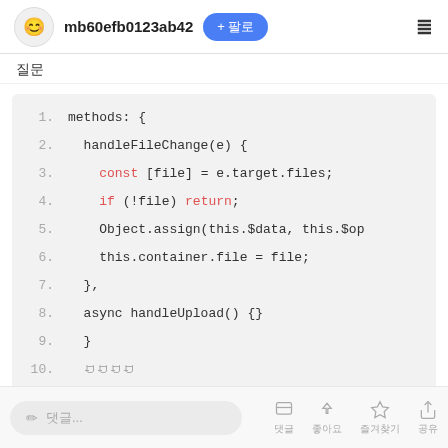mb60efb0123ab42
질문
[Figure (screenshot): Code editor block showing JavaScript methods object with handleFileChange and handleUpload functions, lines 1-10]
댓글 입력... 댓글 좋아요 즐겨찾기 공유